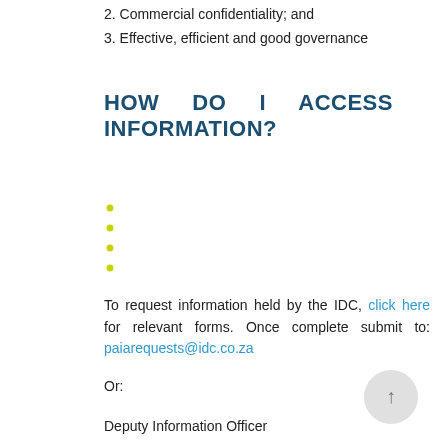2. Commercial confidentiality; and
3. Effective, efficient and good governance
HOW DO I ACCESS INFORMATION?
To request information held by the IDC, click here for relevant forms. Once complete submit to: paiarequests@idc.co.za
Or:
Deputy Information Officer
19 Fredman Drive